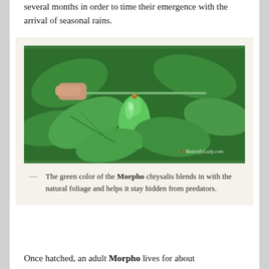several months in order to time their emergence with the arrival of seasonal rains.
[Figure (photo): A bright green Morpho butterfly chrysalis hanging from a thin green plant stem, held between fingers. Large green leaves surround it against a lush green background. Watermark reads 'ButterflyLady.com'.]
— The green color of the Morpho chrysalis blends in with the natural foliage and helps it stay hidden from predators.
Once hatched, an adult Morpho lives for about